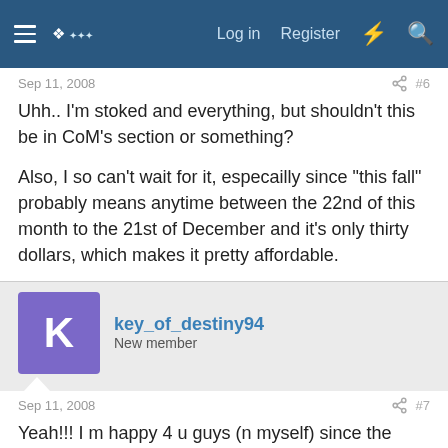Log in  Register
Sep 11, 2008  #6
Uhh.. I'm stoked and everything, but shouldn't this be in CoM's section or something?

Also, I so can't wait for it, especailly since "this fall" probably means anytime between the 22nd of this month to the 21st of December and it's only thirty dollars, which makes it pretty affordable.
key_of_destiny94
New member
Sep 11, 2008  #7
Yeah!!! I m happy 4 u guys (n myself) since the games gonna b in english!!! Yay no nd 2 import it!!! XP
Sa?x's Ducky x)